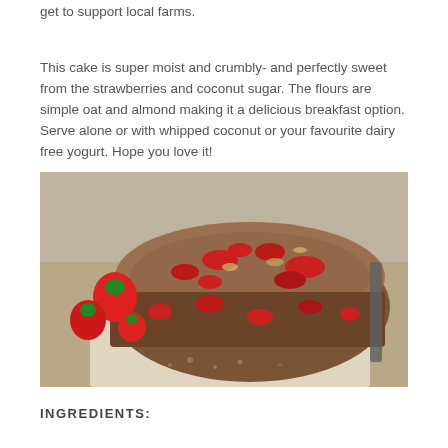get to support local farms.
This cake is super moist and crumbly- and perfectly sweet from the strawberries and coconut sugar. The flours are simple oat and almond making it a delicious breakfast option. Serve alone or with whipped coconut or your favourite dairy free yogurt. Hope you love it!
[Figure (photo): A close-up photo of a sliced strawberry oat cake on parchment paper, surrounded by fresh strawberries. The cake is dense and brown with visible red strawberry pieces throughout.]
INGREDIENTS: